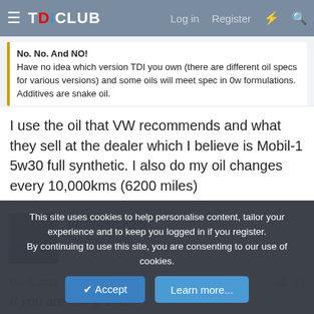TDICLUB — Log in  Register
No. No. And NO!
Have no idea which version TDI you own (there are different oil specs for various versions) and some oils will meet spec in 0w formulations. Additives are snake oil.
I use the oil that VW recommends and what they sell at the dealer which I believe is Mobil-1 5w30 full synthetic. I also do my oil changes every 10,000kms (6200 miles)
turbobrick240
Top Post Dawg
Mar 5, 2021  #7
If you are using 100... (partial)
This site uses cookies to help personalise content, tailor your experience and to keep you logged in if you register.
By continuing to use this site, you are consenting to our use of cookies.